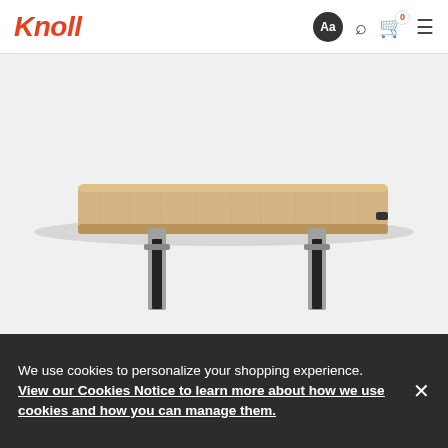Knoll
[Figure (photo): A height-adjustable standing desk with a light wood (oak) rectangular top and black/silver metal frame legs, photographed against a white/light gray background.]
We use cookies to personalize your shopping experience. View our Cookies Notice to learn more about how we use cookies and how you can manage them.